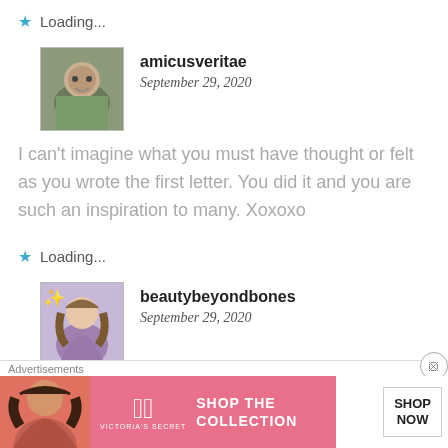Loading...
amicusveritae
September 29, 2020
I can't imagine what you must have thought or felt as you wrote the first letter. You did it and you are such an inspiration to many. Xoxoxo
Loading...
beautybeyondbones
September 29, 2020
Advertisements
[Figure (photo): Victoria's Secret advertisement banner with model, VS logo, 'SHOP THE COLLECTION' text and 'SHOP NOW' button]